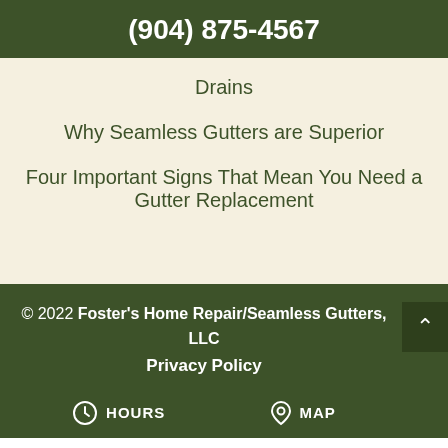(904) 875-4567
Drains
Why Seamless Gutters are Superior
Four Important Signs That Mean You Need a Gutter Replacement
© 2022 Foster's Home Repair/Seamless Gutters, LLC
Privacy Policy
HOURS  MAP